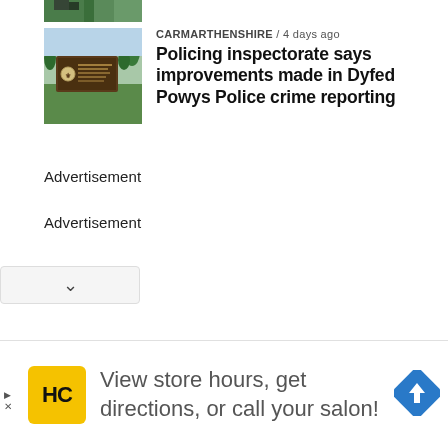[Figure (photo): Partial view of a news article thumbnail image (cropped at top of page)]
CARMARTHENSHIRE / 4 days ago
Policing inspectorate says improvements made in Dyfed Powys Police crime reporting
[Figure (photo): Photo of a Dyfed Powys Police sign/entrance sign with green grass and trees in background]
Advertisement
Advertisement
[Figure (screenshot): Google Ads banner: HC logo in yellow square, text 'View store hours, get directions, or call your salon!' with blue navigation diamond icon]